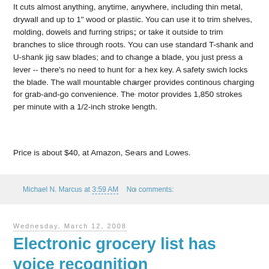It cuts almost anything, anytime, anywhere, including thin metal, drywall and up to 1" wood or plastic. You can use it to trim shelves, molding, dowels and furring strips; or take it outside to trim branches to slice through roots. You can use standard T-shank and U-shank jig saw blades; and to change a blade, you just press a lever -- there's no need to hunt for a hex key. A safety swich locks the blade. The wall mountable charger provides continous charging for grab-and-go convenience. The motor provides 1,850 strokes per minute with a 1/2-inch stroke length.
Price is about $40, at Amazon, Sears and Lowes.
Michael N. Marcus at 3:59 AM    No comments:
Wednesday, March 12, 2008
Electronic grocery list has voice recognition